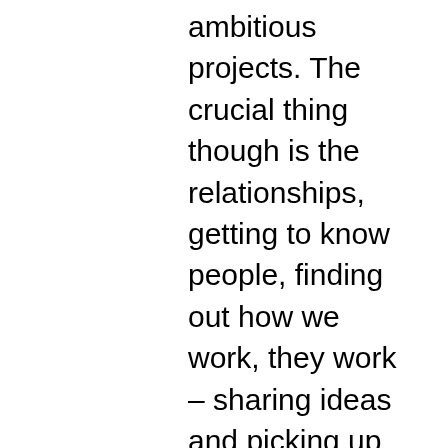ambitious projects. The crucial thing though is the relationships, getting to know people, finding out how we work, they work – sharing ideas and picking up new tips. So I went on a 'reconnoitre' trip – a 'recce' in the touring trade – to Newcastle in preparation for the tour. This was brilliantly organised by our local producers Wunderbar.  I travelled by train, stayed in the best hotel in Newcastle ever, The Rosebery in Jesmond, and went out every night for excellent meals with Ilana Mitchell and Nicola Singh of Wunderbar. I met up with local